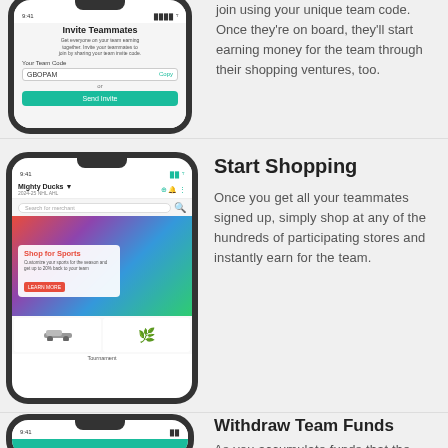[Figure (screenshot): Smartphone screenshot of Invite Teammates screen showing team invite code GBOPAM with Copy button and Send Invite teal button]
join using your unique team code. Once they're on board, they'll start earning money for the team through their shopping ventures, too.
[Figure (screenshot): Smartphone screenshot of a shopping app showing Mighty Ducks team name, Search for merchant bar, Shop for Sports banner with sports equipment images, car and leaf bottom cards, and Tournament label]
Start Shopping
Once you get all your teammates signed up, simply shop at any of the hundreds of participating stores and instantly earn for the team.
[Figure (screenshot): Smartphone screenshot of Funds screen with teal header and circular fund icons below]
Withdraw Team Funds
As you accumulate funds that the team has earned, request a